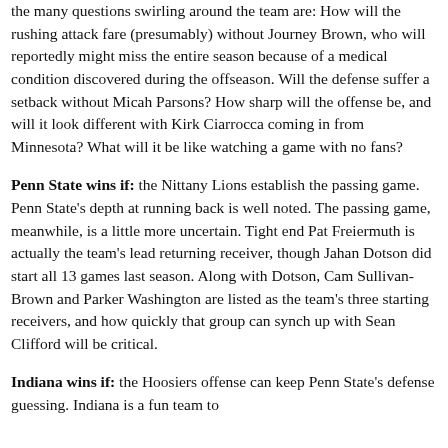the many questions swirling around the team are: How will the rushing attack fare (presumably) without Journey Brown, who will reportedly might miss the entire season because of a medical condition discovered during the offseason. Will the defense suffer a setback without Micah Parsons? How sharp will the offense be, and will it look different with Kirk Ciarrocca coming in from Minnesota? What will it be like watching a game with no fans?
Penn State wins if: the Nittany Lions establish the passing game. Penn State's depth at running back is well noted. The passing game, meanwhile, is a little more uncertain. Tight end Pat Freiermuth is actually the team's lead returning receiver, though Jahan Dotson did start all 13 games last season. Along with Dotson, Cam Sullivan-Brown and Parker Washington are listed as the team's three starting receivers, and how quickly that group can synch up with Sean Clifford will be critical.
Indiana wins if: the Hoosiers offense can keep Penn State's defense guessing. Indiana is a fun team to